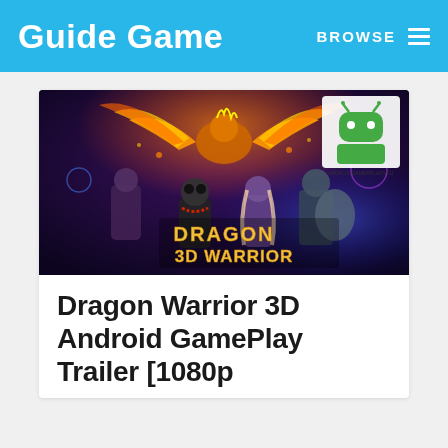Guide Game   BROWSE
[Figure (illustration): Dragon 3D Warrior game promotional artwork showing fantasy characters including a phoenix, samurai, panda warrior, and mage with the game logo 'Dragon 3D Warrior' in gold text. An Android robot logo appears in the top-right corner.]
Dragon Warrior 3D Android GamePlay Trailer [1080p